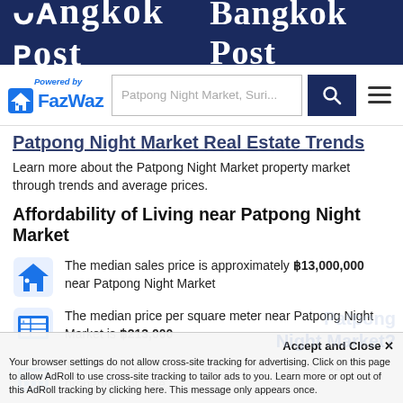Bangkok Post
[Figure (logo): FazWaz logo with house icon, Powered by text, and search bar showing 'Patpong Night Market, Suri...' with search button and hamburger menu]
Patpong Night Market Real Estate Trends
Learn more about the Patpong Night Market property market through trends and average prices.
Affordability of Living near Patpong Night Market
The median sales price is approximately ฿13,000,000 near Patpong Night Market
The median price per square meter near Patpong Night Market is ฿213,000
The Patpong Night Market area currently has 531 properties for sale.
Accept and Close ✕
Your browser settings do not allow cross-site tracking for advertising. Click on this page to allow AdRoll to use cross-site tracking to tailor ads to you. Learn more or opt out of this AdRoll tracking by clicking here. This message only appears once.